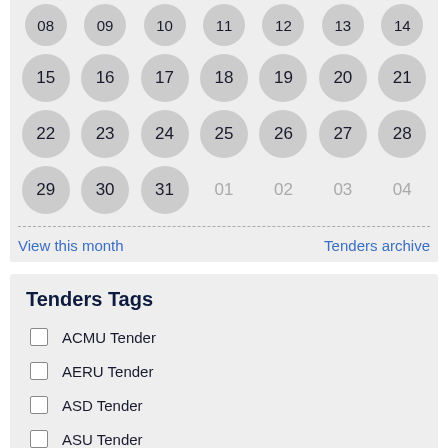[Figure (other): Calendar showing dates 08-14 (top row, partially visible), 15-21, 22-28, 29-31 with following month dates 01-04 greyed out. Days 29,30,31 shown as circles.]
View this month
Tenders archive
Tenders Tags
ACMU Tender
AERU Tender
ASD Tender
ASU Tender
BAU Tender
BSP Tender